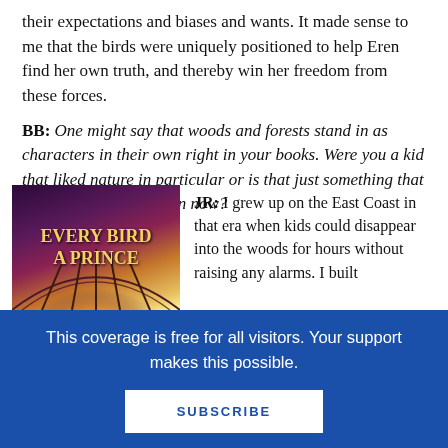their expectations and biases and wants. It made sense to me that the birds were uniquely positioned to help Eren find her own truth, and thereby win her freedom from these forces.
BB: One might say that woods and forests stand in as characters in their own right in your books. Were you a kid that liked nature in particular or is that just something that comes through your pen now?
[Figure (photo): Book cover of 'Every Bird a Prince' showing stylized dark forest with arched trees and a glowing light, golden title text]
JR: I grew up on the East Coast in that era when kids could disappear into the woods for hours without raising any alarms. I built
This coverage is free for all visitors. Your support makes this possible.
SUBSCRIBE